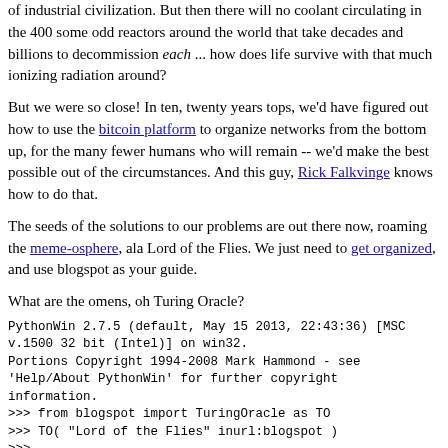of industrial civilization. But then there will no coolant circulating in the 400 some odd reactors around the world that take decades and billions to decommission each ... how does life survive with that much ionizing radiation around?
But we were so close! In ten, twenty years tops, we'd have figured out how to use the bitcoin platform to organize networks from the bottom up, for the many fewer humans who will remain -- we'd make the best possible out of the circumstances. And this guy, Rick Falkvinge knows how to do that.
The seeds of the solutions to our problems are out there now, roaming the meme-osphere, ala Lord of the Flies. We just need to get organized, and use blogspot as your guide.
What are the omens, oh Turing Oracle?
PythonWin 2.7.5 (default, May 15 2013, 22:43:36) [MSC v.1500 32 bit (Intel)] on win32.
Portions Copyright 1994-2008 Mark Hammond - see
'Help/About PythonWin' for further copyright information.
>>> from blogspot import TuringOracle as TO
>>> TO( "Lord of the Flies" inurl:blogspot )
>>>
https://raw.github.com/Blennylips/working/master/image%20gLord0